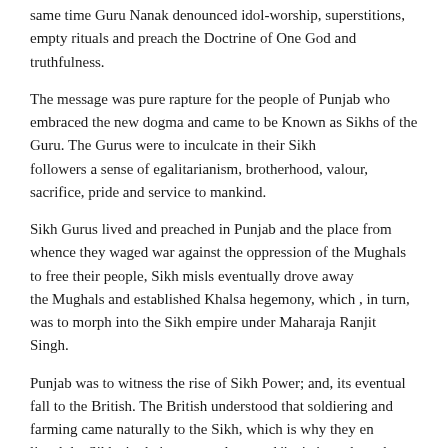same time Guru Nanak denounced idol-worship, superstitions, empty rituals and preach the Doctrine of One God and truthfulness.
The message was pure rapture for the people of Punjab who embraced the new dogma and came to be Known as Sikhs of the Guru. The Gurus were to inculcate in their Sikh followers a sense of egalitarianism, brotherhood, valour, sacrifice, pride and service to mankind.
Sikh Gurus lived and preached in Punjab and the place from whence they waged war against the oppression of the Mughals to free their people, Sikh misls eventually drove away the Mughals and established Khalsa hegemony, which , in turn, was to morph into the Sikh empire under Maharaja Ranjit Singh.
Punjab was to witness the rise of Sikh Power; and, its eventual fall to the British. The British understood that soldiering and farming came naturally to the Sikh, which is why they en listed the Sikhs in their army and granted 'jagirs' to others that was to usher in the 'green revolution'.
Those very twin qualities were to bolster both the image of Sikhs in particular and of Punjab in general. The very elements that were to